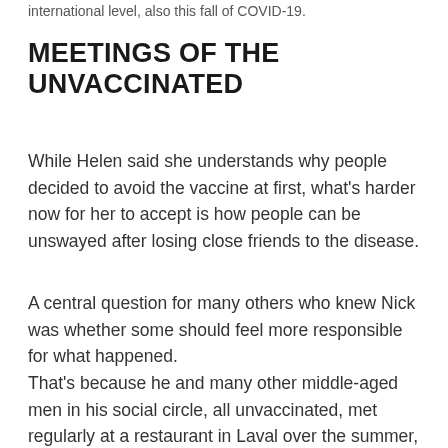international level, also this fall of COVID-19.
MEETINGS OF THE UNVACCINATED
While Helen said she understands why people decided to avoid the vaccine at first, what's harder now for her to accept is how people can be unswayed after losing close friends to the disease.
A central question for many others who knew Nick was whether some should feel more responsible for what happened.
That's because he and many other middle-aged men in his social circle, all unvaccinated, met regularly at a restaurant in Laval over the summer, planning to oppose Quebec's vaccine